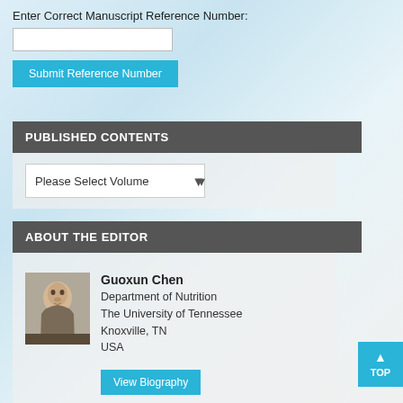Enter Correct Manuscript Reference Number:
[text input field]
Submit Reference Number
PUBLISHED CONTENTS
Please Select Volume
ABOUT THE EDITOR
Guoxun Chen
Department of Nutrition
The University of Tennessee
Knoxville, TN
USA
View Biography
View Editorial Board